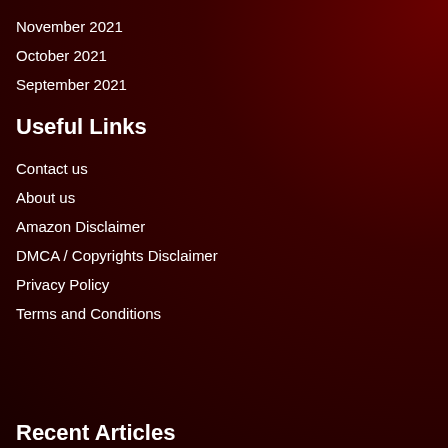November 2021
October 2021
September 2021
Useful Links
Contact us
About us
Amazon Disclaimer
DMCA / Copyrights Disclaimer
Privacy Policy
Terms and Conditions
Recent Articles